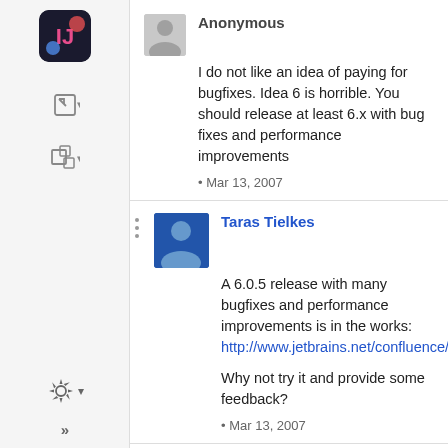[Figure (screenshot): IDE sidebar with app icon, navigation icons, gear/settings icon, and expand arrows at bottom]
Anonymous
I do not like an idea of paying for bugfixes. Idea 6 is horrible. You should release at least 6.x with bug fixes and performance improvements
• Mar 13, 2007
Taras Tielkes
A 6.0.5 release with many bugfixes and performance improvements is in the works:
http://www.jetbrains.net/confluence/display/IDE
Why not try it and provide some feedback?
• Mar 13, 2007
Anonymous
The JavaScript refactoring improvements are VERY welcome. I hope that renaming methods on a prototype object will be scoped properly, instead of doing a mass find and replace as it